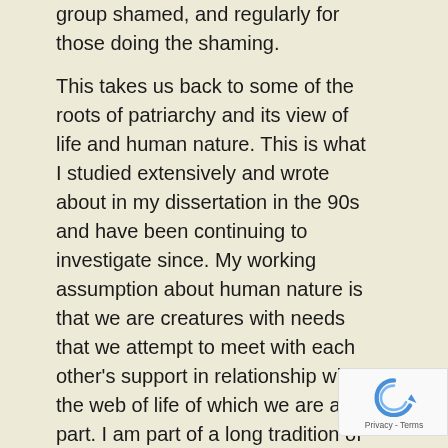group shamed, and regularly for those doing the shaming.
This takes us back to some of the roots of patriarchy and its view of life and human nature. This is what I studied extensively and wrote about in my dissertation in the 90s and have been continuing to investigate since. My working assumption about human nature is that we are creatures with needs that we attempt to meet with each other's support in relationship with the web of life of which we are a part. I am part of a long tradition of thinkers that believe us to be profoundly influenced by the conditions and systems that we encounter when we are born
[Figure (logo): reCAPTCHA badge with Privacy and Terms links]